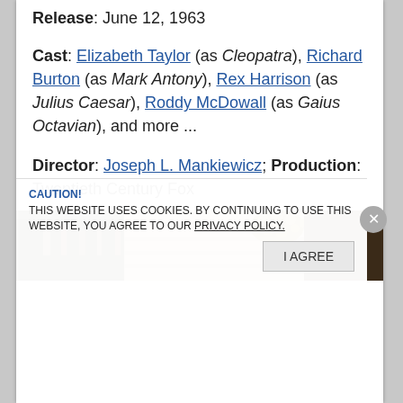Release: June 12, 1963
Cast: Elizabeth Taylor (as Cleopatra), Richard Burton (as Mark Antony), Rex Harrison (as Julius Caesar), Roddy McDowall (as Gaius Octavian), and more ...
Director: Joseph L. Mankiewicz; Production: Twentieth Century Fox
[Figure (photo): A scene from Cleopatra showing costumed figures on stone steps with ornate decorations]
CAUTION! THIS WEBSITE USES COOKIES. BY CONTINUING TO USE THIS WEBSITE, YOU AGREE TO OUR PRIVACY POLICY. [I AGREE button]